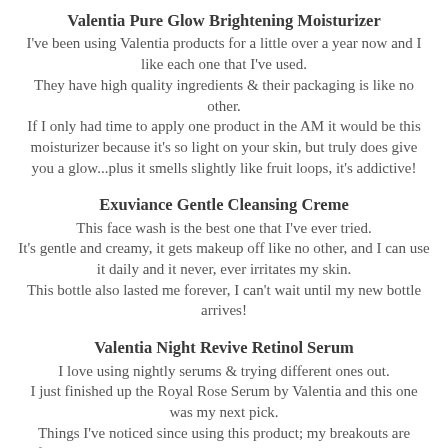Valentia Pure Glow Brightening Moisturizer
I've been using Valentia products for a little over a year now and I like each one that I've used.
They have high quality ingredients & their packaging is like no other.
If I only had time to apply one product in the AM it would be this moisturizer because it's so light on your skin, but truly does give you a glow...plus it smells slightly like fruit loops, it's addictive!
Exuviance Gentle Cleansing Creme
This face wash is the best one that I've ever tried.
It's gentle and creamy, it gets makeup off like no other, and I can use it daily and it never, ever irritates my skin.
This bottle also lasted me forever, I can't wait until my new bottle arrives!
Valentia Night Revive Retinol Serum
I love using nightly serums & trying different ones out.
I just finished up the Royal Rose Serum by Valentia and this one was my next pick.
Things I've noticed since using this product; my breakouts are fewer, my skin tone seems better, & I've seen reduced redness.